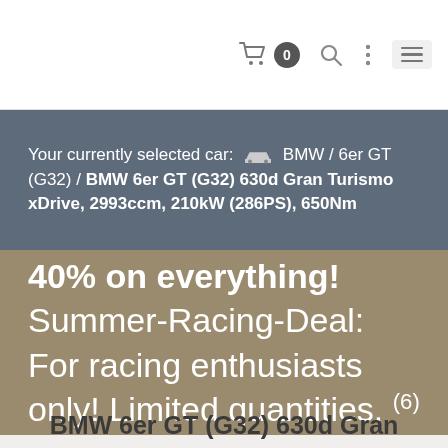[Figure (screenshot): Mobile website navigation bar with cart icon showing badge '0', search icon, vertical dots menu, and hamburger menu icon on white background]
Your currently selected car: 🚗 BMW / 6er GT (G32) / BMW 6er GT (G32) 630d Gran Turismo xDrive, 2993ccm, 210kW (286PS), 650Nm
40% on everything! Summer-Racing-Deal: For racing enthusiasts only! Limited quantities. (6)
BMW 6er GT (G32) 630d Gran Turismo xDrive Chiptuning